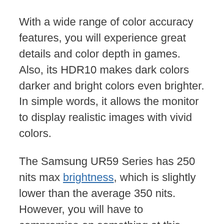With a wide range of color accuracy features, you will experience great details and color depth in games. Also, its HDR10 makes dark colors darker and bright colors even brighter. In simple words, it allows the monitor to display realistic images with vivid colors.
The Samsung UR59 Series has 250 nits max brightness, which is slightly lower than the average 350 nits. However, you will have to compromise on something at this price, and in this case, it's the brightness. The 2500:1 contrast ratio and multiple game mode support combine with brightness to deliver an extraordinary experience in your productive hours.